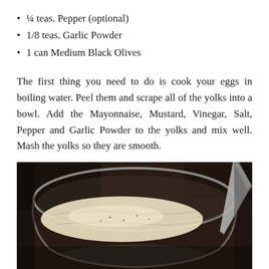¼ teas. Pepper (optional)
1/8 teas. Garlic Powder
1 can Medium Black Olives
The first thing you need to do is cook your eggs in boiling water. Peel them and scrape all of the yolks into a bowl. Add the Mayonnaise, Mustard, Vinegar, Salt, Pepper and Garlic Powder to the yolks and mix well. Mash the yolks so they are smooth.
[Figure (photo): Close-up photo of a glass or metal bowl containing mashed egg yolk mixture being stirred, with a spoon or spatula visible on the right side, dark background]